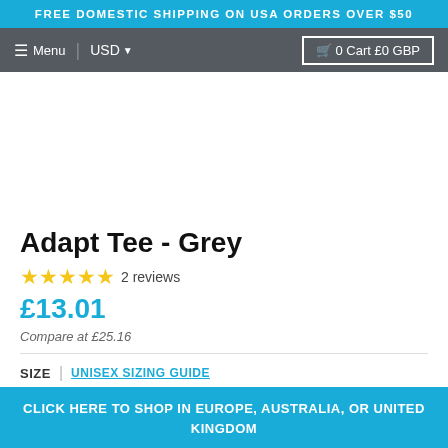FREE DOMESTIC SHIPPING ON USA ORDERS OVER $50
Menu | USD ▼   0 Cart £0 GBP
Adapt Tee - Grey
★★★★★ 2 reviews
£13.01
Compare at £25.16
SIZE | UNISEX SIZING GUIDE
X SMALL  SMALL  MEDIUM  LARGE  X LARGE
CLICK HERE TO SHOP IN EUROPE, AUSTRALIA, OR UNITED KINGDOM